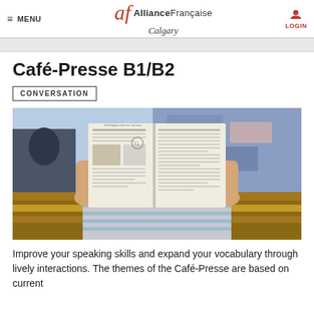MENU | Alliance Française Calgary | LOGIN
Café-Presse B1/B2
CONVERSATION
[Figure (photo): Person sitting on a bench reading a newspaper, holding it up in front of their face. Blurred urban background with graffiti wall. Person wearing a striped long-sleeve shirt.]
Improve your speaking skills and expand your vocabulary through lively interactions. The themes of the Café-Presse are based on current